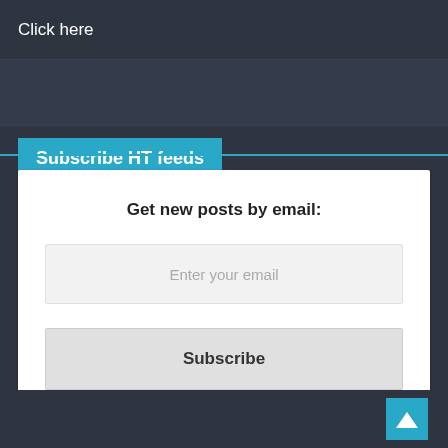Click here
Subscribe HT feeds
Get new posts by email:
Enter your email
Subscribe